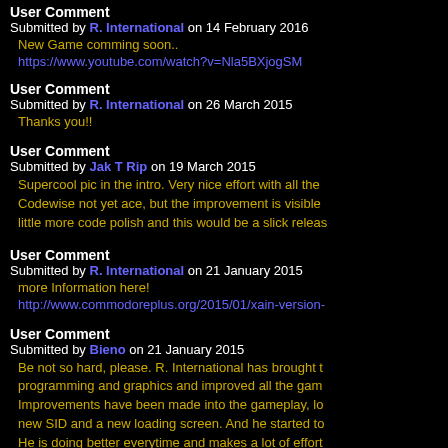User Comment
Submitted by R. International on 14 February 2016
New Game comming soon..
https://www.youtube.com/watch?v=Nla5BXjogSM
User Comment
Submitted by R. International on 26 March 2015
Thanks you!!
User Comment
Submitted by Jak T Rip on 19 March 2015
Supercool pic in the intro. Very nice effort with all the Codewise not yet ace, but the improvement is visible little more code polish and this would be a slick releas
User Comment
Submitted by R. International on 21 January 2015
more Information here!
http://www.commodoreplus.org/2015/01/xain-version-
User Comment
Submitted by Bieno on 21 January 2015
Be not so hard, please. R. International has brought t programming and graphics and improved all the gam Improvements have been made into the gameplay, lo new SID and a new loading screen. And he started to He is doing better everytime and makes a lot of effort c64.
User Comment